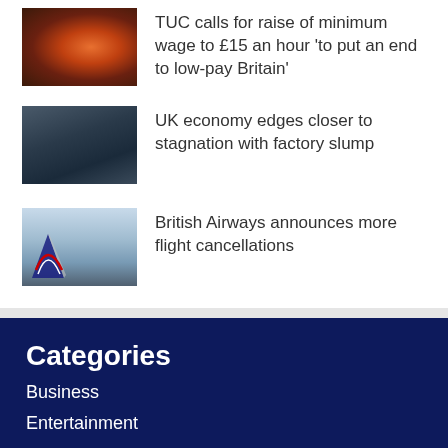[Figure (photo): Industrial worker with sparks flying, orange/red glow, dark background]
TUC calls for raise of minimum wage to £15 an hour 'to put an end to low-pay Britain'
[Figure (photo): Person near industrial or manufacturing setting, dark blue tones]
UK economy edges closer to stagnation with factory slump
[Figure (photo): British Airways aircraft on tarmac, blue sky background]
British Airways announces more flight cancellations
Categories
Business
Entertainment